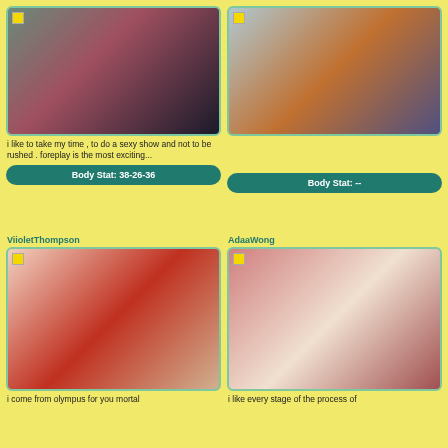[Figure (photo): Woman in red dress and black stockings on teal sofa]
[Figure (photo): Woman in orange top seated on sofa]
i like to take my time , to do a sexy show and not to be rushed . foreplay is the most exciting...
Body Stat: 38-26-36
Body Stat: --
ViioletThompson
AdaaWong
[Figure (photo): Woman in red bikini posing on pink background]
[Figure (photo): Young woman in white towel on pink bed]
i come from olympus for you mortal
i like every stage of the process of